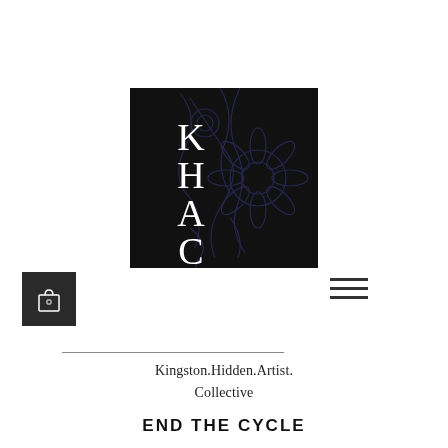[Figure (logo): KHAC logo — tall black rectangle with white serif letters K, H, A, C stacked vertically, overlaid with decorative floral line art in dark navy/purple]
[Figure (other): Dark grey square button with a shopping bag / cart icon in white]
[Figure (other): Hamburger menu icon — three horizontal dark lines]
Kingston.Hidden.Artist.Collective
END THE CYCLE